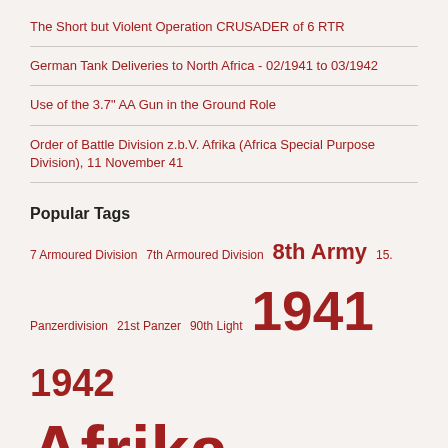The Short but Violent Operation CRUSADER of 6 RTR
German Tank Deliveries to North Africa - 02/1941 to 03/1942
Use of the 3.7" AA Gun in the Ground Role
Order of Battle Division z.b.V. Afrika (Africa Special Purpose Division), 11 November 41
Popular Tags
7 Armoured Division 7th Armoured Division 8th Army 15. Panzerdivision 21st Panzer 90th Light 1941 1942 Afrika Korps afrikakorps AIF Air air attack Air War Ariete division armoured warfare Artillery Axis forces Books Commonwealth forces convoy attack Convoys Desert Air Force Desert Rats desertwar Desert W...